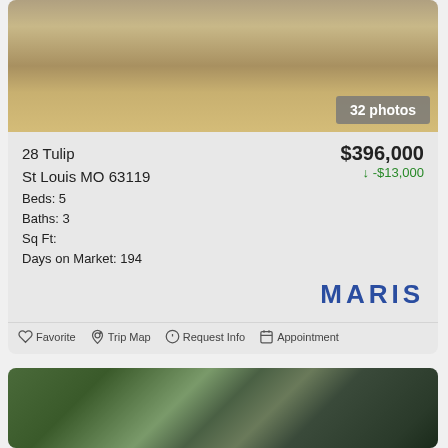[Figure (photo): Exterior photo of property at 28 Tulip showing dry grassy field with badge '32 photos']
28 Tulip
St Louis MO 63119
Beds: 5
Baths: 3
Sq Ft:
Days on Market: 194
$396,000
↓-$13,000
MARIS
Favorite  Trip Map  Request Info  Appointment
[Figure (photo): Aerial satellite view of property with yellow outline boundary markers]